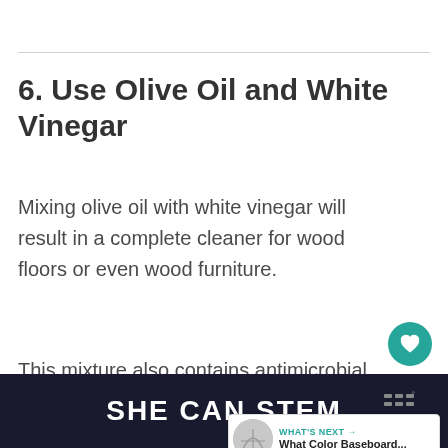6. Use Olive Oil and White Vinegar
Mixing olive oil with white vinegar will result in a complete cleaner for wood floors or even wood furniture.
This mixture also contains antimicrobial properties that helped you disinfect the surface of your floor while its oily components give it an incredible shine.
SHE CAN STEM